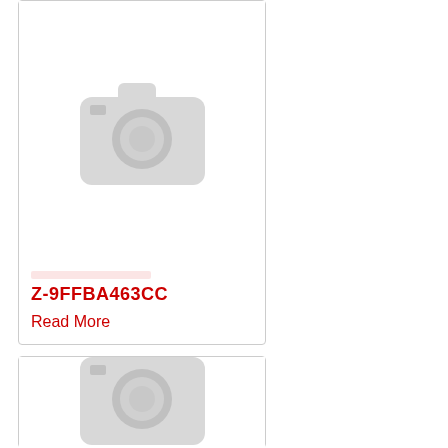[Figure (photo): Placeholder image with grey camera icon — top card]
Z-9FFBA463CC
Read More
[Figure (photo): Placeholder image with grey camera icon — bottom card]